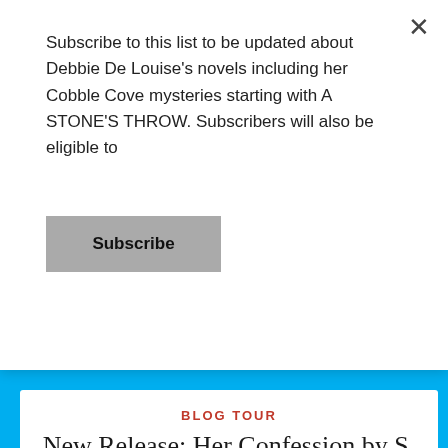Subscribe to this list to be updated about Debbie De Louise's novels including her Cobble Cove mysteries starting with A STONE'S THROW. Subscribers will also be eligible to
Subscribe
BLOG TOUR
New Release: Her Confession by S. Valentine
Posted on August 31, 2016